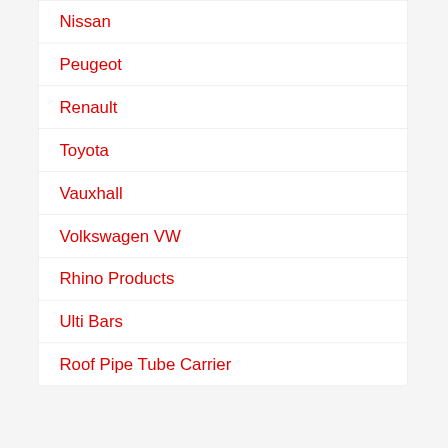Nissan
Peugeot
Renault
Toyota
Vauxhall
Volkswagen VW
Rhino Products
Ulti Bars
Roof Pipe Tube Carrier